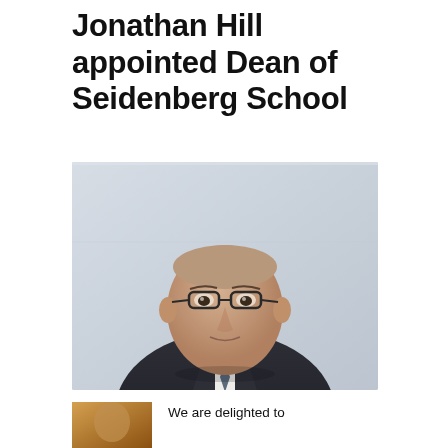Jonathan Hill appointed Dean of Seidenberg School
[Figure (photo): Professional headshot portrait of Jonathan Hill, a middle-aged bald man with glasses wearing a dark suit and tie, photographed against a light grey background.]
[Figure (photo): Small partial photo at the bottom left, likely showing another person.]
We are delighted to